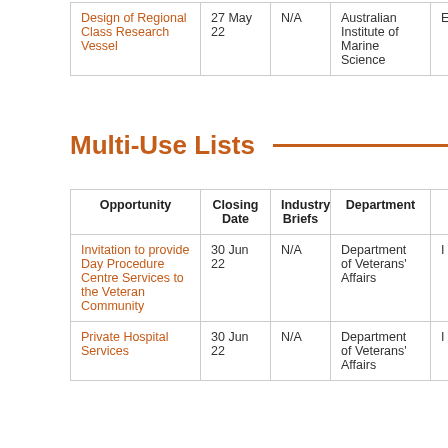| Opportunity | Closing Date | Industry Briefs | Department |  |
| --- | --- | --- | --- | --- |
| Design of Regional Class Research Vessel | 27 May 22 | N/A | Australian Institute of Marine Science | EC |
Multi-Use Lists
| Opportunity | Closing Date | Industry Briefs | Department |  |
| --- | --- | --- | --- | --- |
| Invitation to provide Day Procedure Centre Services to the Veteran Community | 30 Jun 22 | N/A | Department of Veterans' Affairs | I |
| Private Hospital Services | 30 Jun 22 | N/A | Department of Veterans' Affairs | I |